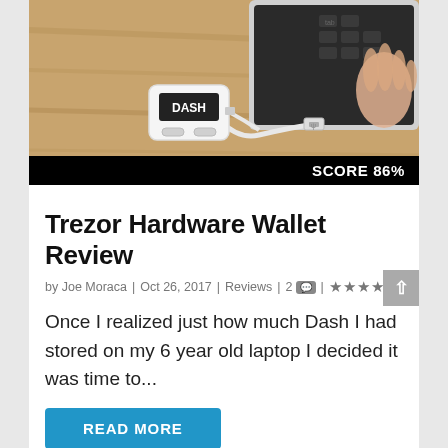[Figure (photo): A Trezor/Dash hardware wallet device (white, small dongle with DASH label and two buttons) connected via USB cable to a laptop, with a person's hand visible on the keyboard. Device is on a wooden surface.]
SCORE 86%
Trezor Hardware Wallet Review
by Joe Moraca | Oct 26, 2017 | Reviews | 2 | ★★★★★
Once I realized just how much Dash I had stored on my 6 year old laptop I decided it was time to...
READ MORE